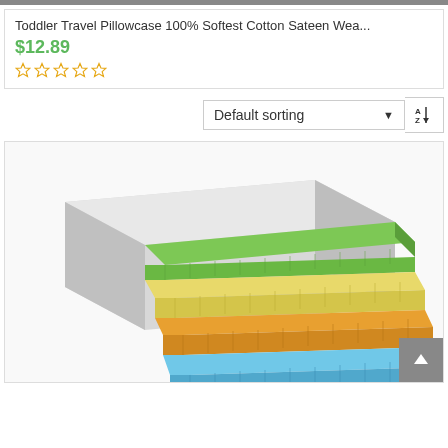Toddler Travel Pillowcase 100% Softest Cotton Sateen Wea...
$12.89
[Figure (illustration): Star rating widget showing 5 empty/outline gold stars indicating 0 out of 5 rating]
Default sorting
[Figure (illustration): Product image showing a cross-section of a layered foam mattress with green, yellow, orange and blue foam layers visible from the side, with a white top surface]